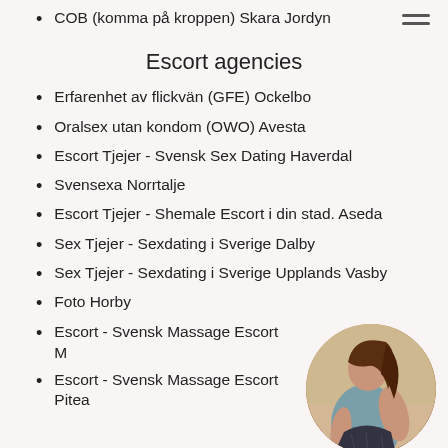COB (komma på kroppen) Skara Jordyn
Escort agencies
Erfarenhet av flickvän (GFE) Ockelbo
Oralsex utan kondom (OWO) Avesta
Escort Tjejer - Svensk Sex Dating Haverdal
Svensexa Norrtalje
Escort Tjejer - Shemale Escort i din stad. Aseda
Sex Tjejer - Sexdating i Sverige Dalby
Sex Tjejer - Sexdating i Sverige Upplands Vasby
Foto Horby
Escort - Svensk Massage Escort M...
Escort - Svensk Massage Escort Pitea...
[Figure (photo): Circular cropped photo of a young woman in a teal/blue top, posed with her back partly to the camera, in the bottom right corner of the page.]